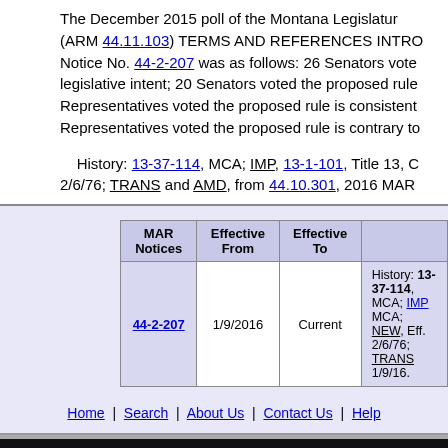The December 2015 poll of the Montana Legislature (ARM 44.11.103) TERMS AND REFERENCES INTRO Notice No. 44-2-207 was as follows: 26 Senators voted legislative intent; 20 Senators voted the proposed rule Representatives voted the proposed rule is consistent Representatives voted the proposed rule is contrary to
History: 13-37-114, MCA; IMP, 13-1-101, Title 13, 2/6/76; TRANS and AMD, from 44.10.301, 2016 MAR
| MAR Notices | Effective From | Effective To |  |
| --- | --- | --- | --- |
| 44-2-207 | 1/9/2016 | Current | History: 13-37-114, MCA; IMP MCA; NEW, Eff. 2/6/76; TRANS 1/9/16. |
Home | Search | About Us | Contact Us | Help
For questions regarding the content, interpretation, or application of a sp A directory of state agencies is available online at h For questions about the organization of the ARM or